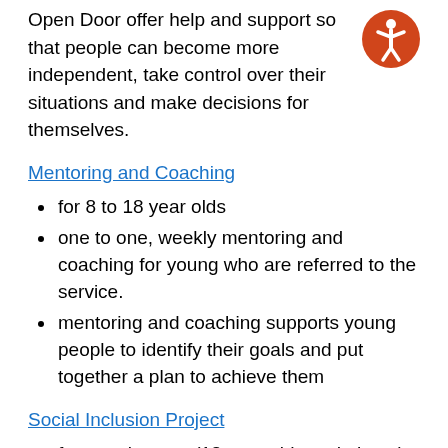Open Door offer help and support so that people can become more independent, take control over their situations and make decisions for themselves.
[Figure (illustration): Orange circle with white accessibility icon (person with arms outstretched)]
Mentoring and Coaching
for 8 to 18 year olds
one to one, weekly mentoring and coaching for young who are referred to the service.
mentoring and coaching supports young people to identify their goals and put together a plan to achieve them
Social Inclusion Project
for care leavers (18 year olds and above)
the Social Inclusion Project offers:
workshops to build independent living skills;
social activities to build self esteem and develop